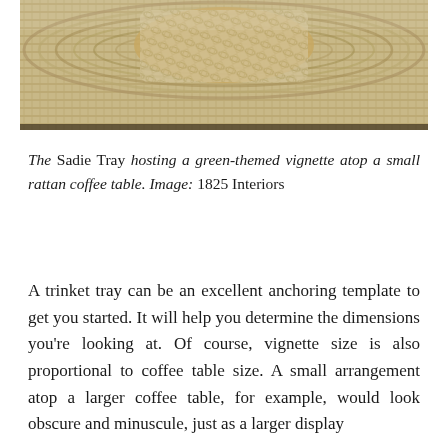[Figure (photo): Close-up photograph of The Sadie Tray on a rattan coffee table, showing woven rattan/wicker texture with concentric circular patterns and a burlap or jute fabric overlay in the center.]
The Sadie Tray hosting a green-themed vignette atop a small rattan coffee table. Image: 1825 Interiors
A trinket tray can be an excellent anchoring template to get you started. It will help you determine the dimensions you're looking at. Of course, vignette size is also proportional to coffee table size. A small arrangement atop a larger coffee table, for example, would look obscure and minuscule, just as a larger display could look crowded and unsightly atop...